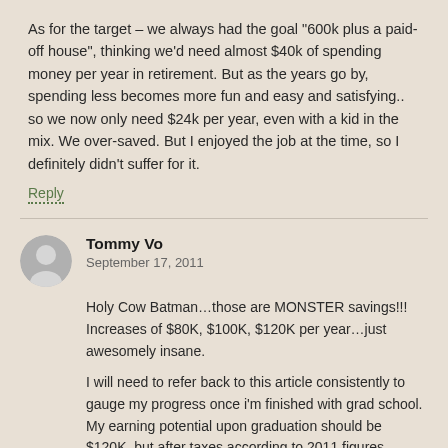As for the target – we always had the goal "600k plus a paid-off house", thinking we'd need almost $40k of spending money per year in retirement. But as the years go by, spending less becomes more fun and easy and satisfying.. so we now only need $24k per year, even with a kid in the mix. We over-saved. But I enjoyed the job at the time, so I definitely didn't suffer for it.
Reply
Tommy Vo
September 17, 2011
Holy Cow Batman…those are MONSTER savings!!! Increases of $80K, $100K, $120K per year…just awesomely insane.
I will need to refer back to this article consistently to gauge my progress once i'm finished with grad school. My earning potential upon graduation should be $120K, but after taxes according to 2011 figures (22.7% federal, 7.85% state, 6.2% fica = 36.75%) nets me ~$76k.
Assume my yearly expenses are ~$16K (I'm gonna continue the modest grad lifestyle FOREVER) which